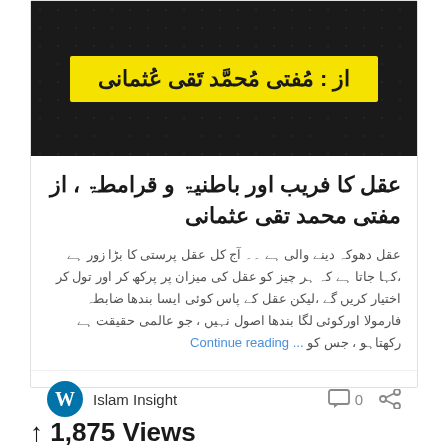[Figure (illustration): Dark patterned book cover with yellow banner showing Arabic text 'az: Mufti Muhammad Taqi Usmani']
عقل کا فریب اور باطنیۃ و قرامطۃ ، از مفتی محمد تقی عثمانی
عقل دھوکہ دینے والی ہے ۔۔ آج کل عقل پرستی کا بڑا زور ہے ،کہا جاتا ہے کہ ہر چیز کو عقل کی میزان پر پرکھ کر اور تول کر اختیار کریں گے ،لیکن عقل کے پاس کوئی ایسا بندھا ضابطہ فارمولا اورکوئی لگا بندھا اصول نہیں ، جو عالمی حقیقت ہے رکھتاہو ، جس کو ... Continue reading
Islam Insight  0
1,875 Views